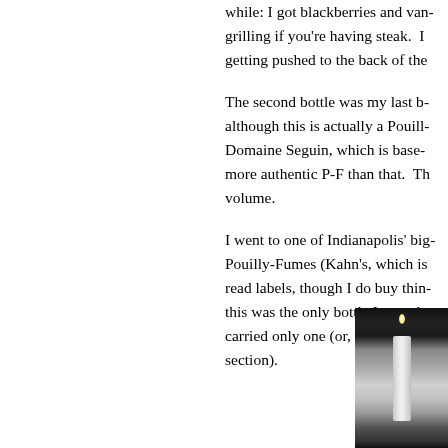while: I got blackberries and van... grilling if you're having steak.  I... getting pushed to the back of the...
The second bottle was my last b... although this is actually a Pouill... Domaine Seguin, which is base... more authentic P-F than that.  Th... volume.
I went to one of Indianapolis' big... Pouilly-Fumes (Kahn's, which is... read labels, though I do buy thin... this was the only bottle I saw, do... carried only one (or, if they have... section).
[Figure (photo): Photograph of a candle or bottle, dark background, partially visible on the right side of the page]